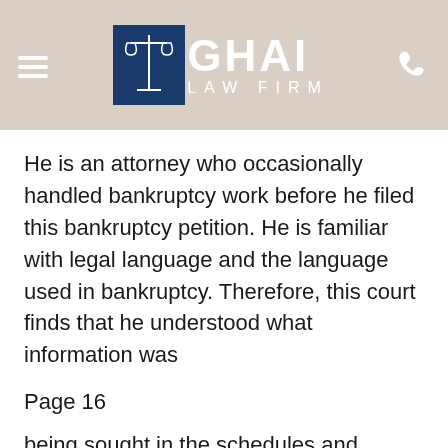GHAI LAW FIRM
He is an attorney who occasionally handled bankruptcy work before he filed this bankruptcy petition. He is familiar with legal language and the language used in bankruptcy. Therefore, this court finds that he understood what information was
Page 16
being sought in the schedules and Statement of Financial Affairs. The only question now is whether Debtor had knowledge of the information he or she failed to disclose it in his